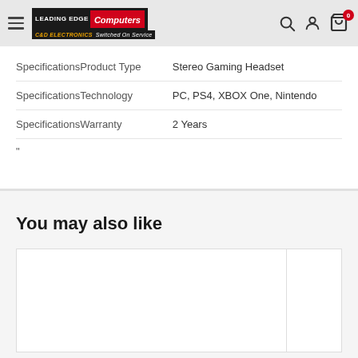Leading Edge Computers | C&D Electronics - Switched On Service
| Specification | Value |
| --- | --- |
| SpecificationsProduct Type | Stereo Gaming Headset |
| SpecificationsTechnology | PC, PS4, XBOX One, Nintendo |
| SpecificationsWarranty | 2 Years |
| " |  |
You may also like
[Figure (other): Product card placeholders for recommended products in a 'You may also like' section]